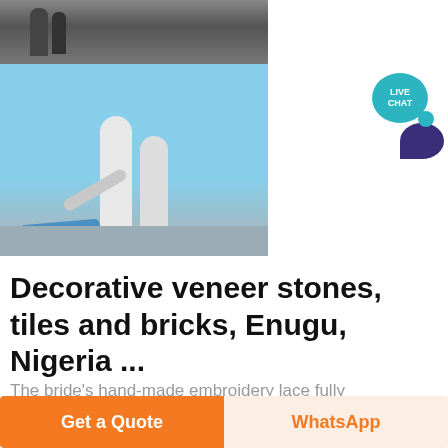[Figure (photo): Two stacked industrial photos: top shows dark factory/machinery interior; bottom shows outdoor industrial plant with white silos, pipes and blue sky background]
[Figure (infographic): Live chat button: teal circular bubble with 'LIVE CHAT' text and a dark purple speech bubble icon behind it]
Decorative veneer stones, tiles and bricks, Enugu, Nigeria ...
The bride's hand-made embroidery lace fully embellished with original stones and pearls was
Get a Quote
WhatsApp